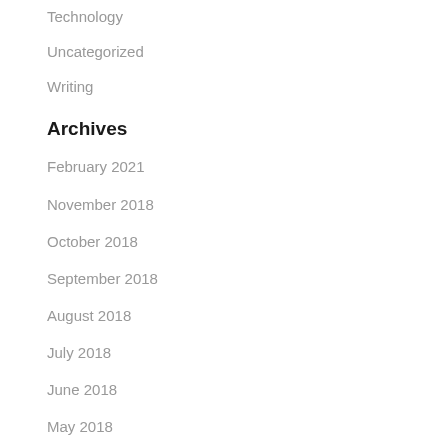Technology
Uncategorized
Writing
Archives
February 2021
November 2018
October 2018
September 2018
August 2018
July 2018
June 2018
May 2018
April 2018
March 2018